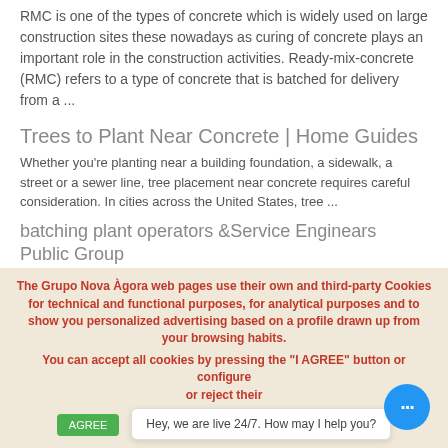RMC is one of the types of concrete which is widely used on large construction sites these nowadays as curing of concrete plays an important role in the construction activities. Ready-mix-concrete (RMC) refers to a type of concrete that is batched for delivery from a ...
Trees to Plant Near Concrete | Home Guides
Whether you’re planting near a building foundation, a sidewalk, a street or a sewer line, tree placement near concrete requires careful consideration. In cities across the United States, tree ...
batching plant operators &Service Enginears Public Group
Types of Cement Silos for Sale Types of Cement Silos for Sale Details· [https:    # dryconcretebatchingplant #
The Grupo Nova Àgora web pages use their own and third-party Cookies for technical and functional purposes, for analytical purposes and to show you personalized advertising based on a profile drawn up from your browsing habits.
You can accept all cookies by pressing the “I AGREE” button or configure or reject their “
Hey, we are live 24/7. How may I help you?